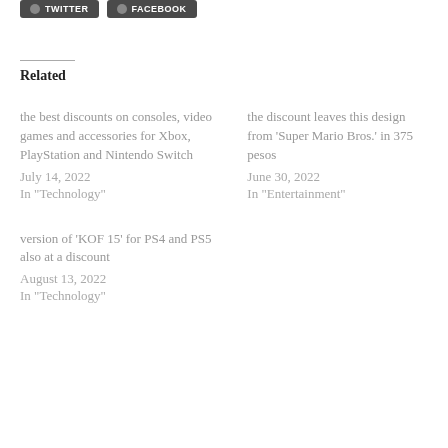Related
the best discounts on consoles, video games and accessories for Xbox, PlayStation and Nintendo Switch
July 14, 2022
In "Technology"
the discount leaves this design from 'Super Mario Bros.' in 375 pesos
June 30, 2022
In "Entertainment"
version of 'KOF 15' for PS4 and PS5 also at a discount
August 13, 2022
In "Technology"